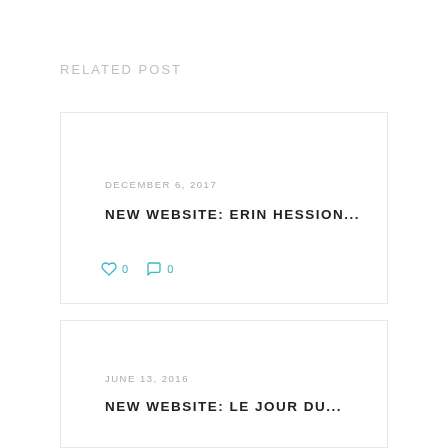RELATED POST
DECEMBER 6, 2017
NEW WEBSITE: ERIN HESSION...
0  0
JUNE 13, 2016
NEW WEBSITE: LE JOUR DU...